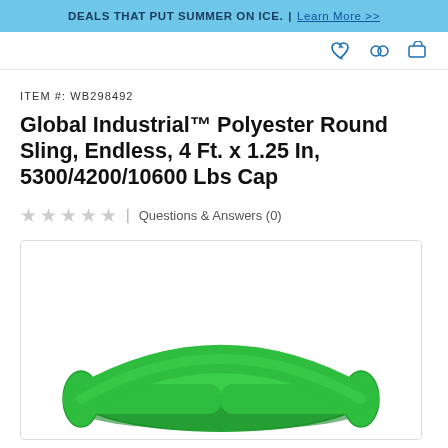DEALS THAT PUT SUMMER ON ICE. | Learn More >>
ITEM #: WB298492
Global Industrial™ Polyester Round Sling, Endless, 4 Ft. x 1.25 In, 5300/4200/10600 Lbs Cap
★★★★★ | Questions & Answers (0)
[Figure (photo): Green polyester round sling (endless loop) product photo on white background]